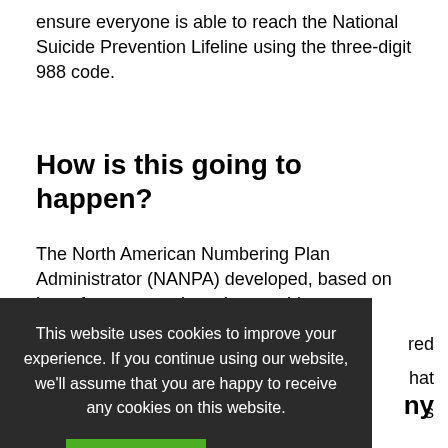ensure everyone is able to reach the National Suicide Prevention Lifeline using the three-digit 988 code.
How is this going to happen?
The North American Numbering Plan Administrator (NANPA) developed, based on input from covered service providers, an implementation...
[Figure (screenshot): Cookie consent overlay on a dark background with text: 'This website uses cookies to improve your experience. If you continue using our website, we'll assume that you are happy to receive any cookies on this website.' with a green 'Continue' button and a 'Read More' link.]
No. One of the reasons for changing